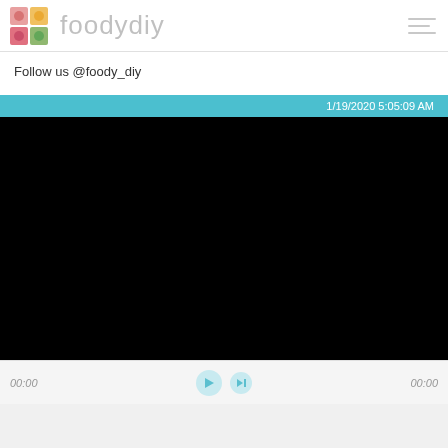foodydiy
Follow us @foody_diy
1/19/2020 5:05:09 AM
[Figure (screenshot): Black video player frame with no content loaded]
00:00   00:00